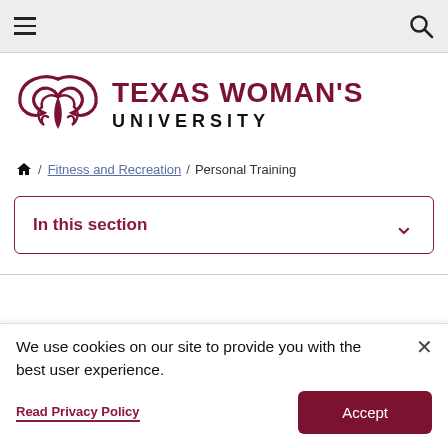Texas Woman's University navigation bar
[Figure (logo): Texas Woman's University logo with stylized bird/wing mark in dark red and bold text 'TEXAS WOMAN'S UNIVERSITY']
Home / Fitness and Recreation / Personal Training
In this section
We use cookies on our site to provide you with the best user experience.
Read Privacy Policy
Accept